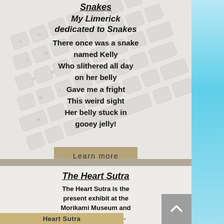Snakes
My Limerick dedicated to Snakes
There once was a snake named Kelly
Who slithered all day on her belly
Gave me a fright
This weird sight
Her belly stuck in gooey jelly!
The Heart Sutra
The Heart Sutra is the present exhibit at the Morikami Museum and Japanese Gardens. What is this and why is it central to Buddhism?
Heart Sutra